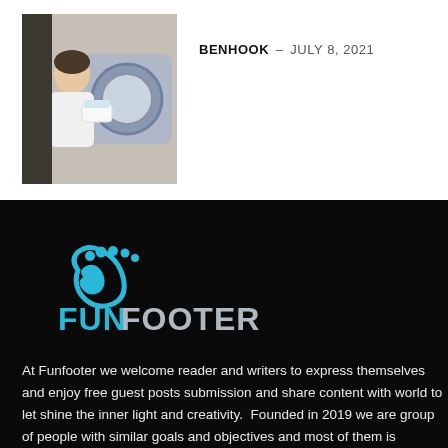[Figure (photo): Person loading or using a washing machine, holding a white detergent container]
BENHOOK – JULY 8, 2021
[Figure (logo): Funfooter logo with cyan foot/swirl icon and text 'FUNFOOTER' in mixed cyan and grey letters on dark background]
At Funfooter we welcome reader and writers to express themselves and enjoy free guest posts submission and share content with world to let shine the inner light and creativity.  Founded in 2019 we are group of people with similar goals and objectives and most of them is relatable